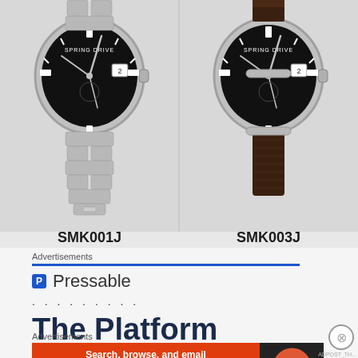[Figure (photo): Two Seiko Spring Drive watches side by side on light gray background. Left watch labeled SMK001J has a stainless steel bracelet. Right watch labeled SMK003J has a dark leather strap. Both have black dials with 'Spring Drive' text and date windows.]
SMK001J   SMK003J
Advertisements
[Figure (logo): Pressable logo - blue square with white P letter, followed by 'Pressable' text in gray]
. . . . . . . . .
The Platform
Advertisements
[Figure (screenshot): DuckDuckGo advertisement banner. Orange background with white text: 'Search, browse, and email with more privacy. All in One Free App'. Right side has dark background with DuckDuckGo duck logo.]